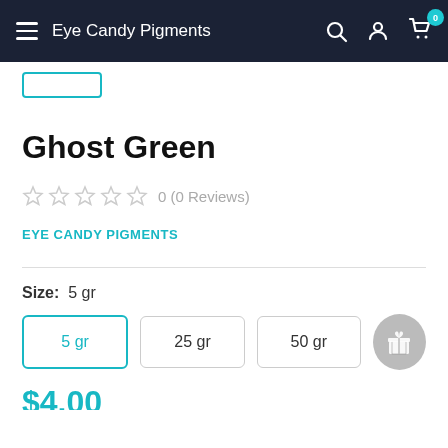Eye Candy Pigments
Ghost Green
0 (0 Reviews)
EYE CANDY PIGMENTS
Size: 5 gr
5 gr
25 gr
50 gr
$4.00